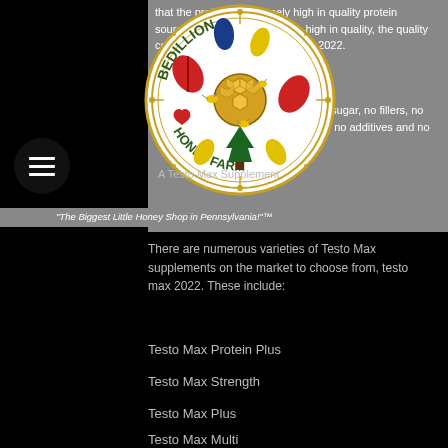that the protein is extremely high in quality protein source. Not only is this protein high in quality, the quality comes from a different testo max 2022.
have no sugar, no fillers, no sugars, no additives and no filler.
[Figure (logo): Bedillion Honey Farm circular logo with colorful floral and bee motifs and text 'The Biggest Little Honey Shop in Pennsylvania!']
A Testo Max Supplement
"The Biggest Little Honey Shop in Pennsylvania!"™
There are numerous varieties of Testo Max supplements on the market to choose from, testo max 2022. These include:
Testo Max Protein Plus
Testo Max Strength
Testo Max Plus
Testo Max Multi